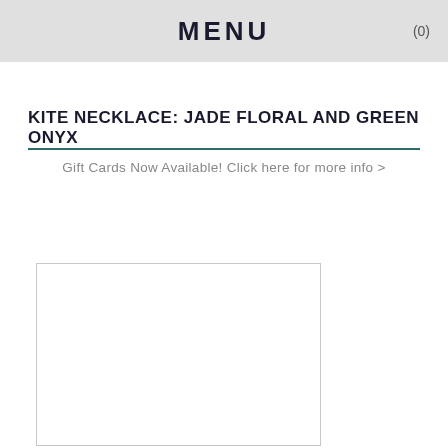MENU (0)
KITE NECKLACE: JADE FLORAL AND GREEN ONYX
Gift Cards Now Available! Click here for more info >
[Figure (photo): Empty white image placeholder with light gray border]